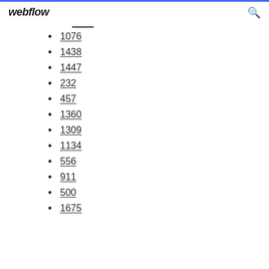webflow
1076
1438
1447
232
457
1360
1309
1134
556
911
500
1675